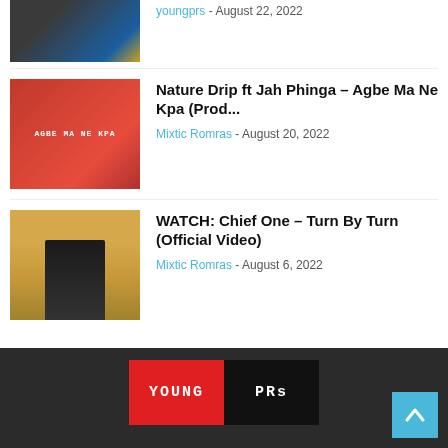[Figure (photo): Partial thumbnail of two women in swimwear against a blue background]
youngprs - August 22, 2022
[Figure (photo): Music cover art for Agbe Ma Ne Kpa showing two men on a red background with text AGBE MA NE KPA]
Nature Drip ft Jah Phinga – Agbe Ma Ne Kpa (Prod...
Mixtic Romras - August 20, 2022
[Figure (photo): Photo of a person wearing sunglasses with locs in front of a painting on a yellow wall]
WATCH: Chief One – Turn By Turn (Official Video)
Mixtic Romras - August 6, 2022
[Figure (logo): YoungPRs logo with red and black background and dotted white text]
[Figure (other): Blue back-to-top button with upward arrow]